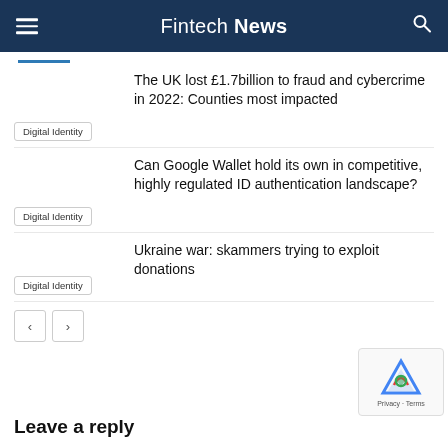Fintech News
Digital Identity — The UK lost £1.7billion to fraud and cybercrime in 2022: Counties most impacted
Digital Identity — Can Google Wallet hold its own in competitive, highly regulated ID authentication landscape?
Digital Identity — Ukraine war: skammers trying to exploit donations
Leave a reply